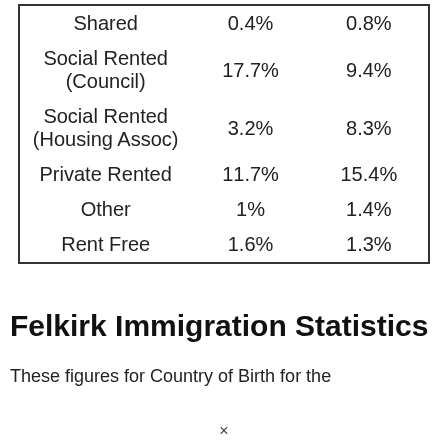| Shared | 0.4% | 0.8% |
| Social Rented (Council) | 17.7% | 9.4% |
| Social Rented (Housing Assoc) | 3.2% | 8.3% |
| Private Rented | 11.7% | 15.4% |
| Other | 1% | 1.4% |
| Rent Free | 1.6% | 1.3% |
Felkirk Immigration Statistics
These figures for Country of Birth for the